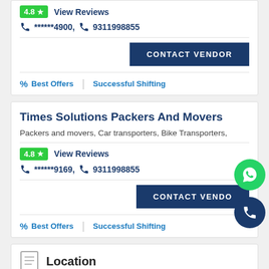4.8 ★  View Reviews
📞 ******4900, 📞 9311998855
CONTACT VENDOR
% Best Offers  |  Successful Shifting
Times Solutions Packers And Movers
Packers and movers, Car transporters, Bike Transporters,
4.8 ★  View Reviews
📞 ******9169, 📞 9311998855
CONTACT VENDOR
% Best Offers  |  Successful Shifting
Location
Chandigarh